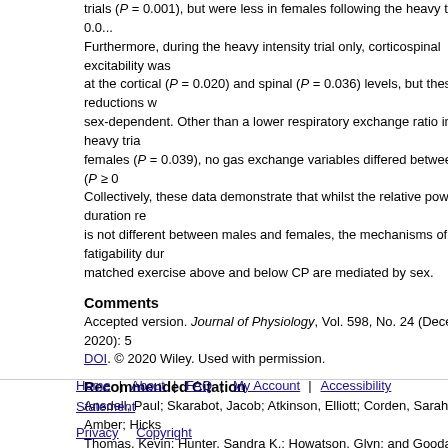trials (P = 0.001), but were less in females following the heavy trial (P = 0.0... Furthermore, during the heavy intensity trial only, corticospinal excitability was... at the cortical (P = 0.020) and spinal (P = 0.036) levels, but these reductions w... sex-dependent. Other than a lower respiratory exchange ratio in the heavy tria... females (P = 0.039), no gas exchange variables differed between sexes (P ≥ 0... Collectively, these data demonstrate that whilst the relative power–duration re... is not different between males and females, the mechanisms of fatigability dur... matched exercise above and below CP are mediated by sex.
Comments
Accepted version. Journal of Physiology, Vol. 598, No. 24 (December 2020): 5
DOI. © 2020 Wiley. Used with permission.
Recommended Citation
Ansdell, Paul; Skarabot, Jacob; Atkinson, Elliott; Corden, Sarah; Tygart, Amber; Hicks... Thomas, Kevin; Hunter, Sandra K.; Howatson, Glyn; and Goodall, Stuart, "Sex Diffe... Fatigability Following Exercise Normalised to the Power–Duration Relationship" (202... Science Faculty Research and Publications. 207.
https://epublications.marquette.edu/exsci_fac/207
Home | About | FAQ | My Account | Accessibility Statement
Privacy  Copyright